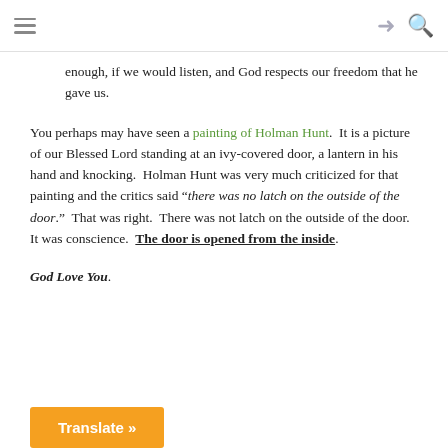enough, if we would listen, and God respects our freedom that he gave us.
You perhaps may have seen a painting of Holman Hunt.  It is a picture of our Blessed Lord standing at an ivy-covered door, a lantern in his hand and knocking.  Holman Hunt was very much criticized for that painting and the critics said “there was no latch on the outside of the door.”  That was right.  There was not latch on the outside of the door.  It was conscience.  The door is opened from the inside.
God Love You.